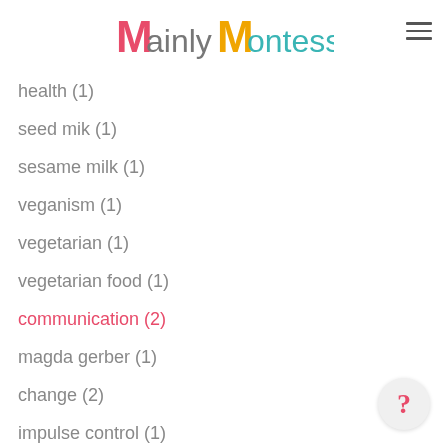Mainly Montessori
health (1)
seed mik (1)
sesame milk (1)
veganism (1)
vegetarian (1)
vegetarian food (1)
communication (2)
magda gerber (1)
change (2)
impulse control (1)
limits (2)
mealtimes (1)